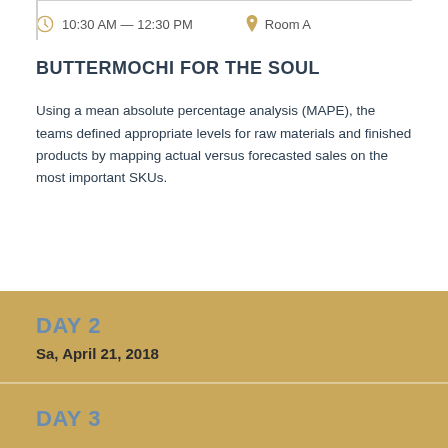10:30 AM — 12:30 PM   Room A
BUTTERMOCHI FOR THE SOUL
Using a mean absolute percentage analysis (MAPE), the teams defined appropriate levels for raw materials and finished products by mapping actual versus forecasted sales on the most important SKUs.
DAY 2
Sa, April 21, 2018
DAY 3